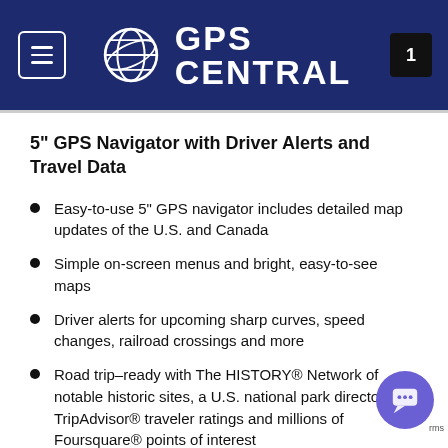GPS CENTRAL
5" GPS Navigator with Driver Alerts and Travel Data
Easy-to-use 5" GPS navigator includes detailed map updates of the U.S. and Canada
Simple on-screen menus and bright, easy-to-see maps
Driver alerts for upcoming sharp curves, speed changes, railroad crossings and more
Road trip–ready with The HISTORY® Network of notable historic sites, a U.S. national park directory, TripAdvisor® traveler ratings and millions of Foursquare® points of interest